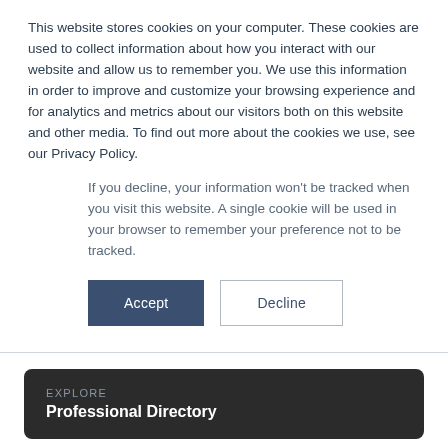This website stores cookies on your computer. These cookies are used to collect information about how you interact with our website and allow us to remember you. We use this information in order to improve and customize your browsing experience and for analytics and metrics about our visitors both on this website and other media. To find out more about the cookies we use, see our Privacy Policy.
If you decline, your information won't be tracked when you visit this website. A single cookie will be used in your browser to remember your preference not to be tracked.
Accept
Decline
EXPLORE
Professional Directory
Carol Surowiec
Partner, Fiener Advisory Group LLC